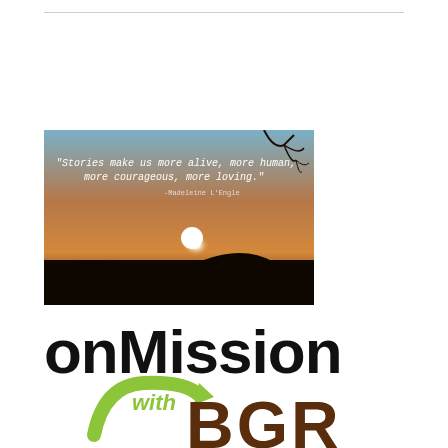← Older posts
[Figure (photo): Sunset photo with quote: 'Stories make us more alive, more human, more courageous, more loving.' -Madeleine L'Engle]
[Figure (logo): onMission with BGR logo - text 'onMission' in bold black, 'with' and a green arrow curving around, 'BGR' in brown distressed lettering]